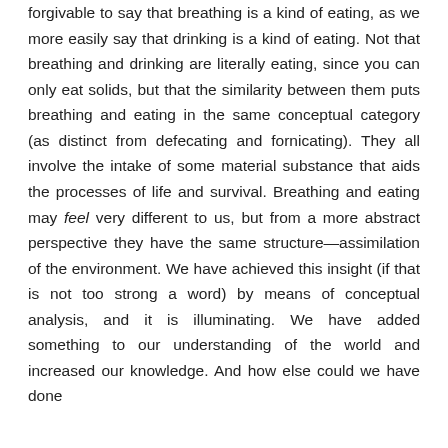forgivable to say that breathing is a kind of eating, as we more easily say that drinking is a kind of eating. Not that breathing and drinking are literally eating, since you can only eat solids, but that the similarity between them puts breathing and eating in the same conceptual category (as distinct from defecating and fornicating). They all involve the intake of some material substance that aids the processes of life and survival. Breathing and eating may feel very different to us, but from a more abstract perspective they have the same structure—assimilation of the environment. We have achieved this insight (if that is not too strong a word) by means of conceptual analysis, and it is illuminating. We have added something to our understanding of the world and increased our knowledge. And how else could we have done